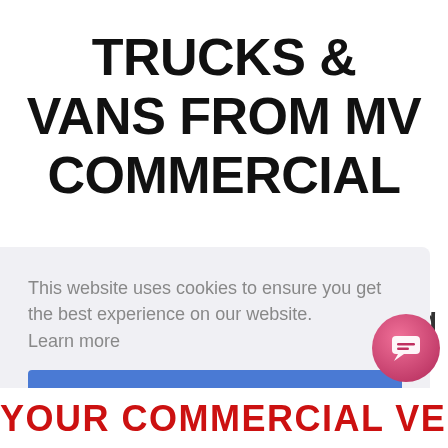TRUCKS & VANS FROM MV COMMERCIAL
This website uses cookies to ensure you get the best experience on our website.
Learn more
Got it!
ing
YOUR COMMERCIAL VEHICLE